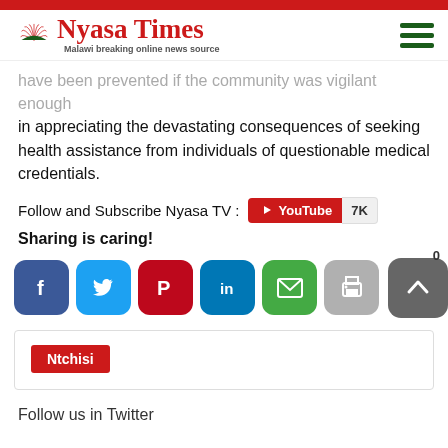Nyasa Times - Malawi breaking online news source
have been prevented if the community was vigilant enough in appreciating the devastating consequences of seeking health assistance from individuals of questionable medical credentials.
Follow and Subscribe Nyasa TV : [YouTube 7K]
Sharing is caring!
[Figure (infographic): Social sharing buttons: Facebook, Twitter, Pinterest, LinkedIn, Email, Print, and scroll-to-top with count 0 and SHARES label]
Ntchisi
Follow us in Twitter